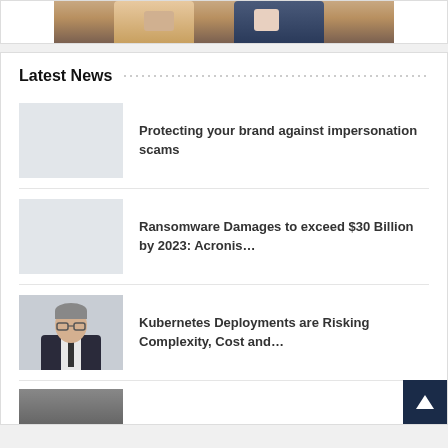[Figure (photo): Partial view of two people in business attire with hands clasped on a table]
Latest News
[Figure (photo): Placeholder thumbnail image (light gray) for brand impersonation scams article]
Protecting your brand against impersonation scams
[Figure (photo): Placeholder thumbnail image (light gray) for ransomware damages article]
Ransomware Damages to exceed $30 Billion by 2023: Acronis…
[Figure (photo): Photo of a middle-aged man with glasses in a dark suit]
Kubernetes Deployments are Risking Complexity, Cost and…